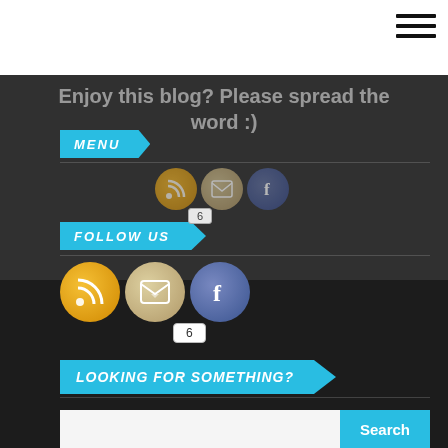[Figure (screenshot): White navigation bar with hamburger menu icon (three horizontal lines) on the right side]
Enjoy this blog? Please spread the word :)
MENU
[Figure (illustration): Three social media icons: RSS (orange), Email (beige), Facebook (dark blue) with a share count badge showing 6]
FOLLOW US
[Figure (illustration): Three social media icons: RSS (orange), Email (beige), Facebook (blue) with a share count badge showing 6]
LOOKING FOR SOMETHING?
[Figure (screenshot): Search bar with white input field and blue Search button]